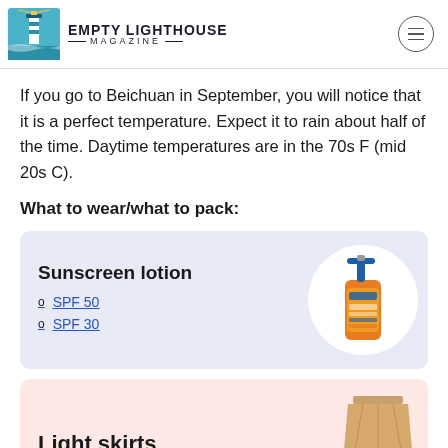EMPTY LIGHTHOUSE MAGAZINE
If you go to Beichuan in September, you will notice that it is a perfect temperature. Expect it to rain about half of the time. Daytime temperatures are in the 70s F (mid 20s C).
What to wear/what to pack:
[Figure (photo): Product card for Sunscreen lotion with SPF 50 and SPF 30 links, and an image of an orange sunscreen bottle on a light blue/lavender background]
[Figure (photo): Partial product card for Light skirts with a product image, on a light pink/peach background]